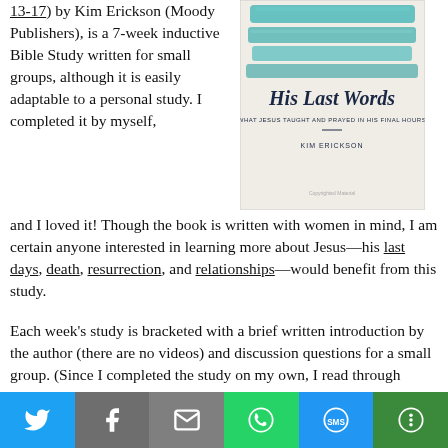13-17) by Kim Erickson (Moody Publishers), is a 7-week inductive Bible Study written for small groups, although it is easily adaptable to a personal study. I completed it by myself, and I loved it! Though the book is written with women in mind, I am certain anyone interested in learning more about Jesus—his last days, death, resurrection, and relationships—would benefit from this study.
[Figure (illustration): Book cover of 'His Last Words: What Jesus Taught and Prayed in His Final Hours' by Kim Erickson. Light beige background with teal/turquoise watercolor brushstrokes at the top, title in dark italic script font, subtitle and author name in dark navy text.]
Each week's study is bracketed with a brief written introduction by the author (there are no videos) and discussion questions for a small group. (Since I completed the study on my own, I read through them,
[Figure (infographic): Social sharing bar with six buttons: Twitter (blue), Facebook (gray), Email (gray), WhatsApp (green), SMS (blue), More (dark green)]